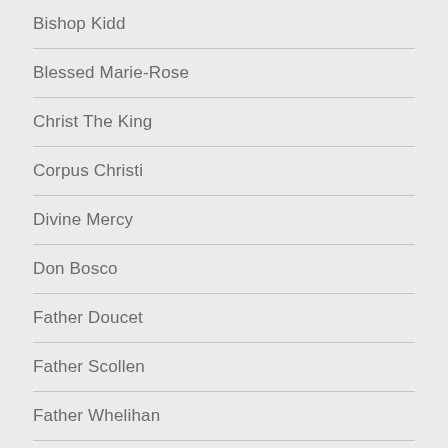Bishop Kidd
Blessed Marie-Rose
Christ The King
Corpus Christi
Divine Mercy
Don Bosco
Father Doucet
Father Scollen
Father Whelihan
Good Shepherd
Guardian Angels
Holy Angels
[Figure (illustration): Wheelchair accessibility icon — white figure in wheelchair inside a circle outline]